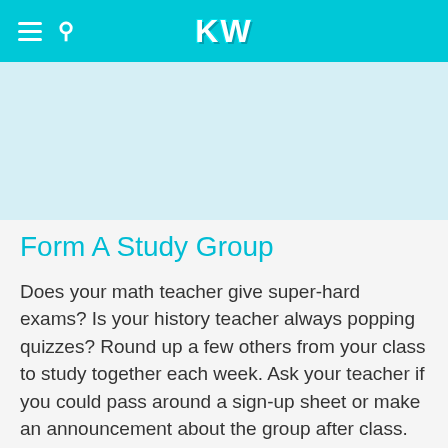KW
[Figure (other): Advertisement banner space (light blue background)]
Form A Study Group
Does your math teacher give super-hard exams? Is your history teacher always popping quizzes? Round up a few others from your class to study together each week. Ask your teacher if you could pass around a sign-up sheet or make an announcement about the group after class. When your group